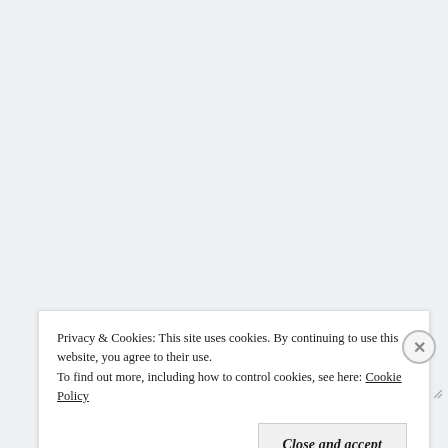[Figure (screenshot): A large textarea form field with a resize handle in the bottom-right corner, on a light gray background.]
Name
[Figure (screenshot): A text input field for Name on a light gray background.]
Email
Privacy & Cookies: This site uses cookies. By continuing to use this website, you agree to their use.
To find out more, including how to control cookies, see here: Cookie Policy
Close and accept